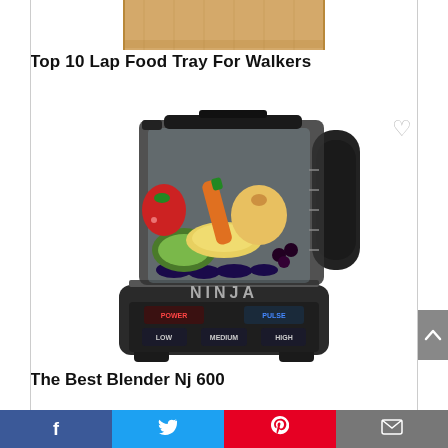[Figure (photo): Partially visible wooden lap food tray product image at the top of the page (cropped)]
Top 10 Lap Food Tray For Walkers
[Figure (photo): Ninja NJ 600 blender with fruits and vegetables inside a clear pitcher, showing POWER, PULSE, LOW, MEDIUM, HIGH buttons on the black base]
The Best Blender Nj 600
Facebook | Twitter | Pinterest | Email share buttons